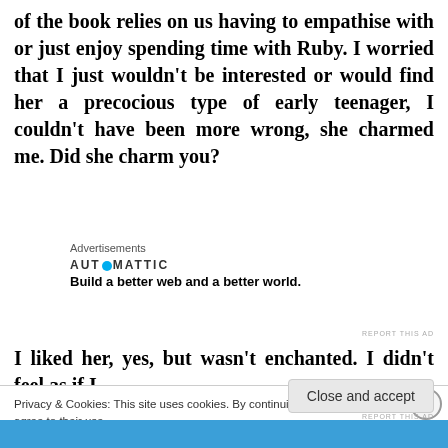of the book relies on us having to empathise with or just enjoy spending time with Ruby. I worried that I just wouldn't be interested or would find her a precocious type of early teenager, I couldn't have been more wrong, she charmed me. Did she charm you?
Advertisements
[Figure (logo): Automattic logo with tagline: Build a better web and a better world.]
REPORT THIS AD
I liked her. yes. but wasn't enchanted. I didn't feel as if I
Privacy & Cookies: This site uses cookies. By continuing to use this website, you agree to their use.
To find out more, including how to control cookies, see here: Cookie Policy
Close and accept